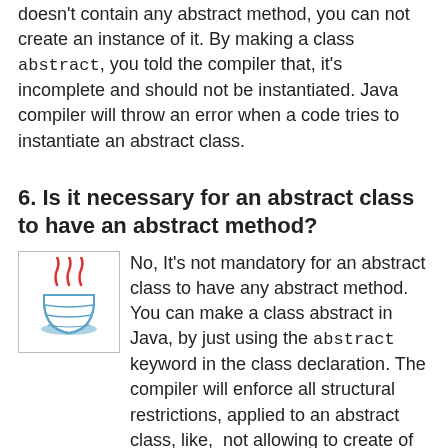doesn't contain any abstract method, you can not create an instance of it. By making a class abstract, you told the compiler that, it's incomplete and should not be instantiated. Java compiler will throw an error when a code tries to instantiate an abstract class.
6. Is it necessary for an abstract class to have an abstract method?
[Figure (logo): Java logo: a red and blue steaming coffee cup icon]
No, It's not mandatory for an abstract class to have any abstract method. You can make a class abstract in Java, by just using the abstract keyword in the class declaration. The compiler will enforce all structural restrictions, applied to an abstract class, like,  not allowing to create of any instance.
By the way, it's debatable whether you should have an abstract method inside the abstract class or interface. In my opinion, the abstract class should have abstract methods, because that's the first thing programmer assumes when he sees that class. That would also go nicely along with the